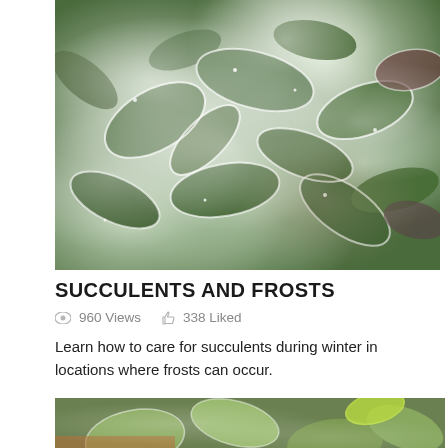[Figure (photo): Close-up photo of frost-covered succulent plants with green leaves edged in white frost crystals]
SUCCULENTS AND FROSTS
👁 960 Views  👍 338 Liked
Learn how to care for succulents during winter in locations where frosts can occur.
[Figure (photo): Second photo showing frost-covered succulent plants, partially visible at bottom of page]